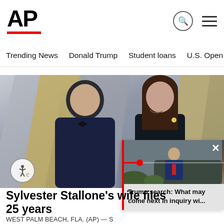[Figure (logo): AP (Associated Press) logo in bold black text with red underline bar]
Trending News   Donald Trump   Student loans   U.S. Open Tenn
[Figure (photo): Sylvester Stallone in a dark suit with bow tie and a woman in a black dress smiling at each other at what appears to be the Oscars red carpet]
[Figure (screenshot): Popup overlay showing a person (Trump) getting into a car, with a red progress bar and text about Trump search inquiry]
Sylvester Stallone's wife files for divorce after 25 years
WEST PALM BEACH, Fla. (AP) — S